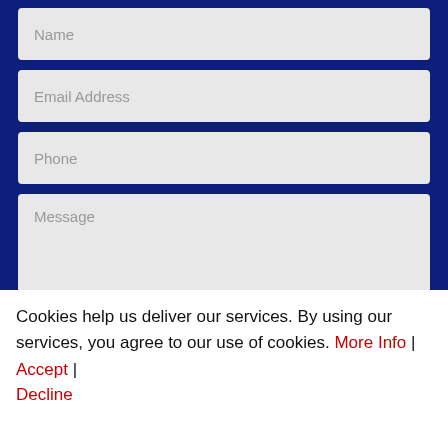[Figure (screenshot): Web contact form with fields: Name, Email Address, Phone, Message on a dark navy blue background]
FREE CONTACTLESS HOME DELIV
Submit
Cookies help us deliver our services. By using our services, you agree to our use of cookies. More Info | Accept | Decline